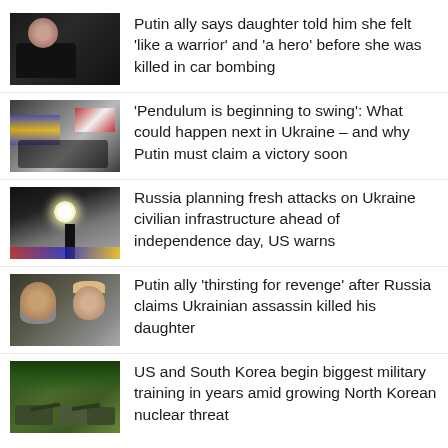Putin ally says daughter told him she felt ‘like a warrior’ and ‘a hero’ before she was killed in car bombing
‘Pendulum is beginning to swing’: What could happen next in Ukraine – and why Putin must claim a victory soon
Russia planning fresh attacks on Ukraine civilian infrastructure ahead of independence day, US warns
Putin ally ‘thirsting for revenge’ after Russia claims Ukrainian assassin killed his daughter
US and South Korea begin biggest military training in years amid growing North Korean nuclear threat